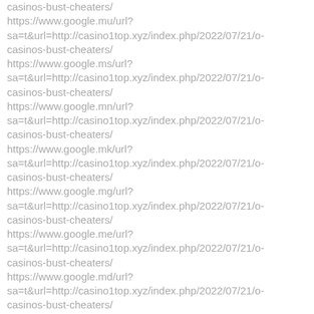casinos-bust-cheaters/
https://www.google.mu/url?sa=t&url=http://casino1top.xyz/index.php/2022/07/21/o-casinos-bust-cheaters/
https://www.google.ms/url?sa=t&url=http://casino1top.xyz/index.php/2022/07/21/o-casinos-bust-cheaters/
https://www.google.mn/url?sa=t&url=http://casino1top.xyz/index.php/2022/07/21/o-casinos-bust-cheaters/
https://www.google.mk/url?sa=t&url=http://casino1top.xyz/index.php/2022/07/21/o-casinos-bust-cheaters/
https://www.google.mg/url?sa=t&url=http://casino1top.xyz/index.php/2022/07/21/o-casinos-bust-cheaters/
https://www.google.me/url?sa=t&url=http://casino1top.xyz/index.php/2022/07/21/o-casinos-bust-cheaters/
https://www.google.md/url?sa=t&url=http://casino1top.xyz/index.php/2022/07/21/o-casinos-bust-cheaters/